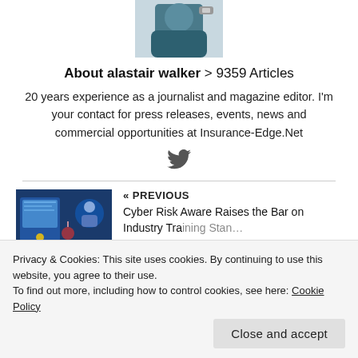[Figure (photo): Partial author photo showing a person in dark clothing, cropped at top]
About alastair walker  >  9359 Articles
20 years experience as a journalist and magazine editor. I'm your contact for press releases, events, news and commercial opportunities at Insurance-Edge.Net
[Figure (illustration): Twitter bird social media icon]
[Figure (illustration): Previous article thumbnail: cyber security themed illustration with blue tones showing a person at a computer]
« PREVIOUS
Cyber Risk Aware Raises the Bar on Industry Training Standards
Privacy & Cookies: This site uses cookies. By continuing to use this website, you agree to their use.
To find out more, including how to control cookies, see here: Cookie Policy